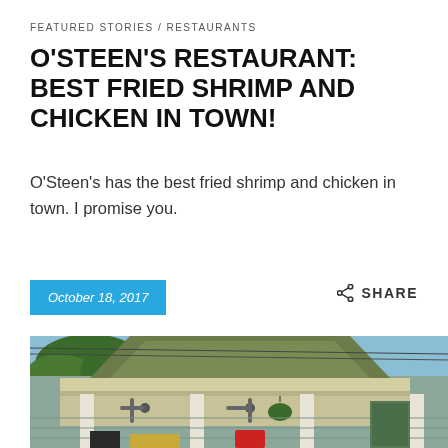FEATURED STORIES / RESTAURANTS
O'STEEN'S RESTAURANT: BEST FRIED SHRIMP AND CHICKEN IN TOWN!
O'Steen's has the best fried shrimp and chicken in town. I promise you.
October 18, 2017
SHARE
[Figure (photo): Exterior photo of O'Steen's Restaurant showing a covered porch with ceiling fans, white columns, green roof, trees in background]